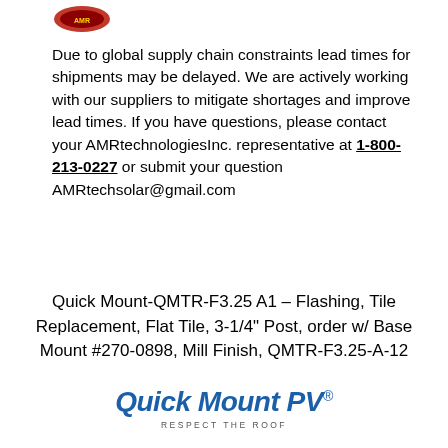[Figure (logo): AMR Technologies Inc. red logo/badge at top left]
Due to global supply chain constraints lead times for shipments may be delayed. We are actively working with our suppliers to mitigate shortages and improve lead times. If you have questions, please contact your AMRtechnologiesInc. representative at 1-800-213-0227 or submit your question AMRtechsolar@gmail.com
Quick Mount-QMTR-F3.25 A1 – Flashing, Tile Replacement, Flat Tile, 3-1/4" Post, order w/ Base Mount #270-0898, Mill Finish, QMTR-F3.25-A-12
[Figure (logo): Quick Mount PV logo with tagline RESPECT THE ROOF]